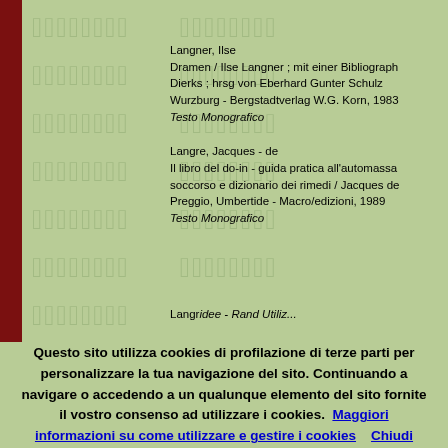Langner, Ilse
Dramen / Ilse Langner ; mit einer Bibliograph Dierks ; hrsg von Eberhard Gunter Schulz
Wurzburg - Bergstadtverlag W.G. Korn, 1983
Testo Monografico
Langre, Jacques - de
Il libro del do-in - guida pratica all'automassa soccorso e dizionario dei rimedi / Jacques de
Preggio, Umbertide - Macro/edizioni, 1989
Testo Monografico
Questo sito utilizza cookies di profilazione di terze parti per personalizzare la tua navigazione del sito. Continuando a navigare o accedendo a un qualunque elemento del sito fornite il vostro consenso ad utilizzare i cookies. Maggiori informazioni su come utilizzare e gestire i cookies   Chiudi